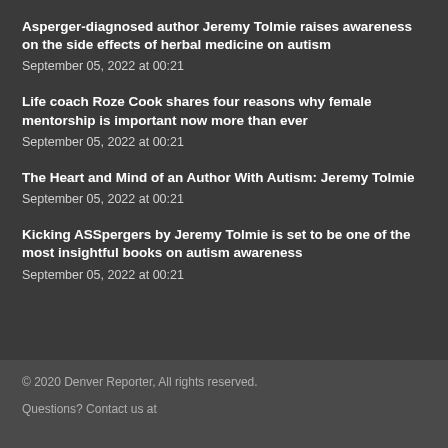Asperger-diagnosed author Jeremy Tolmie raises awareness on the side effects of herbal medicine on autism
September 05, 2022 at 00:21
Life coach Roze Cook shares four reasons why female mentorship is important now more than ever
September 05, 2022 at 00:21
The Heart and Mind of an Author With Autism: Jeremy Tolmie
September 05, 2022 at 00:21
Kicking ASSpergers by Jeremy Tolmie is set to be one of the most insightful books on autism awareness
September 05, 2022 at 00:21
© 2020 Denver Reporter, All rights reserved.
Questions? Contact us at